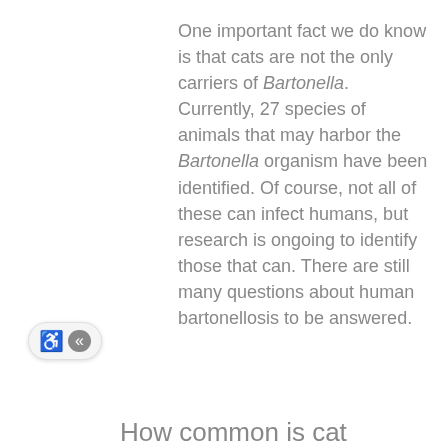One important fact we do know is that cats are not the only carriers of Bartonella. Currently, 27 species of animals that may harbor the Bartonella organism have been identified. Of course, not all of these can infect humans, but research is ongoing to identify those that can. There are still many questions about human bartonellosis to be answered.
[Figure (other): Accessibility widget showing a wheelchair icon and a left-pointing double arrow in a pill-shaped button]
How common is cat